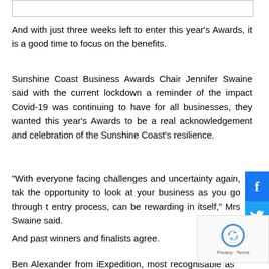And with just three weeks left to enter this year's Awards, it is a good time to focus on the benefits.
Sunshine Coast Business Awards Chair Jennifer Swaine said with the current lockdown a reminder of the impact Covid-19 was continuing to have for all businesses, they wanted this year's Awards to be a real acknowledgement and celebration of the Sunshine Coast's resilience.
“With everyone facing challenges and uncertainty again, tak the opportunity to look at your business as you go through t entry process, can be rewarding in itself,” Mrs Swaine said.
And past winners and finalists agree.
Ben Alexander from iExpedition, most recognisable as a 2019